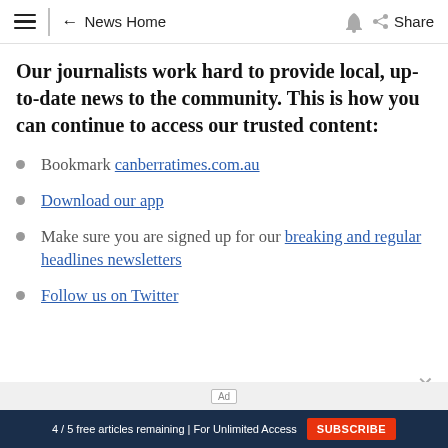≡ | ← News Home 🔔 Share
Our journalists work hard to provide local, up-to-date news to the community. This is how you can continue to access our trusted content:
Bookmark canberratimes.com.au
Download our app
Make sure you are signed up for our breaking and regular headlines newsletters
Follow us on Twitter
4 / 5 free articles remaining | For Unlimited Access  SUBSCRIBE